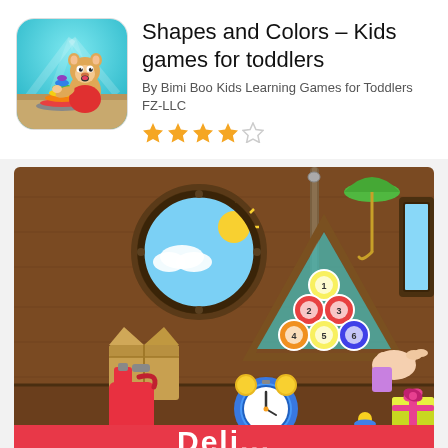[Figure (logo): App icon showing a cartoon bear/cat playing with colorful stacking rings toy on a teal background]
Shapes and Colors – Kids games for toddlers
By Bimi Boo Kids Learning Games for Toddlers FZ-LLC
[Figure (other): 4 filled gold stars and 1 empty/outline star rating]
[Figure (screenshot): App screenshot showing a cartoon room with wooden walls, a porthole window showing sky, a triangle shape with numbered billiard balls, a hand pointing, cardboard box, red gas can, alarm clock, stacking rings toy, gift box. At bottom a red bar with white text partially visible.]